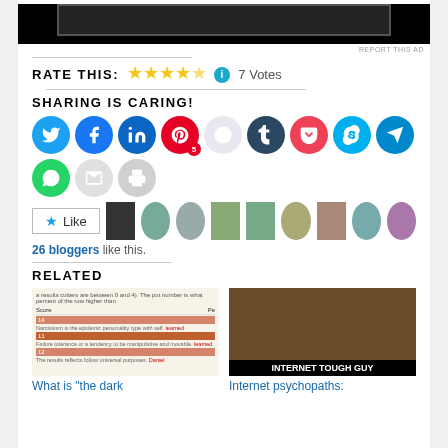[Figure (other): Black ad banner at top of page with 'REPORT THIS AD' text]
RATE THIS: ★★★★½ ℹ 7 Votes
SHARING IS CARING!
[Figure (other): Social sharing icon buttons: Twitter, Facebook, LinkedIn, Pinterest (5), Reddit, Tumblr, Pocket, Skype, Telegram, WhatsApp, Email, Print]
[Figure (other): Like button with star icon and blogger avatar thumbnails. 26 bloggers like this.]
26 bloggers like this.
RELATED
[Figure (other): Thumbnail image of a quiz/test score page]
What is "the dark
[Figure (other): Thumbnail image labeled INTERNET TOUGH GUY showing person at computer]
Internet psychopaths: